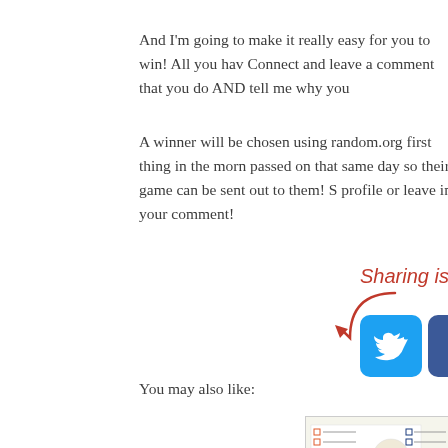And I'm going to make it really easy for you to win! All you hav Connect and leave a comment that you do AND tell me why you
A winner will be chosen using random.org first thing in the morn passed on that same day so their game can be sent out to them! S profile or leave in your comment!
[Figure (infographic): Sharing is caring graphic with arrow pointing to Twitter, Facebook, and Pinterest social media icons]
You may also like:
[Figure (screenshot): Small thumbnail image of a checklist document]
[Figure (photo): Small thumbnail image of sandals/hat summer accessories]